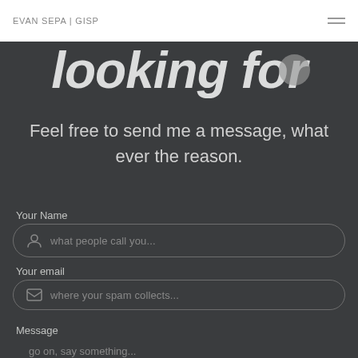EVAN SEPA | GISP
looking for
Feel free to send me a message, what ever the reason.
Your Name
what people call you...
Your email
where your spam collects...
Message
go on, say something...